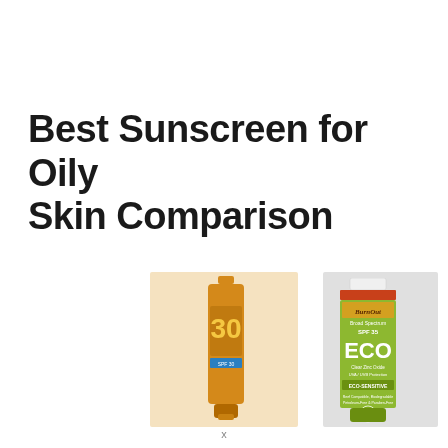Best Sunscreen for Oily Skin Comparison
[Figure (photo): Two sunscreen product bottles: an orange tube labeled SPF 30 sunscreen/tinted cream on the left against a peach background, and a green BurnOut Broad Spectrum SPF 35 ECO Clear Zinc Oxide sunscreen tube on the right against a gray background.]